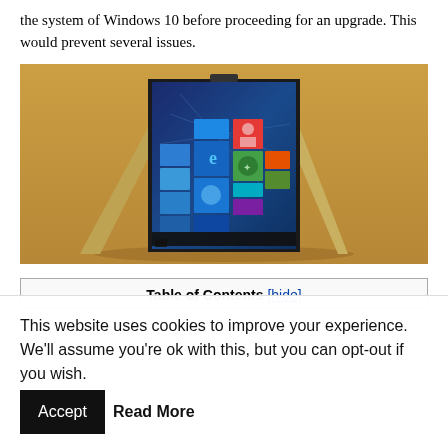the system of Windows 10 before proceeding for an upgrade. This would prevent several issues.
[Figure (photo): A 2-in-1 laptop/tablet in tent mode on a sandy surface, with Windows 10 Start screen visible on display, showing tiles including Edge browser, Xbox, and other apps]
Table of Contents [hide]
This website uses cookies to improve your experience. We'll assume you're ok with this, but you can opt-out if you wish. Accept Read More